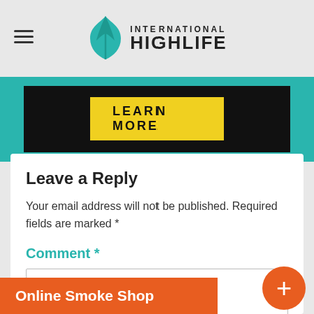International Highlife
[Figure (screenshot): Dark banner image with yellow LEARN MORE button]
Leave a Reply
Your email address will not be published. Required fields are marked *
Comment *
[Figure (screenshot): Empty comment text area input box]
Online Smoke Shop